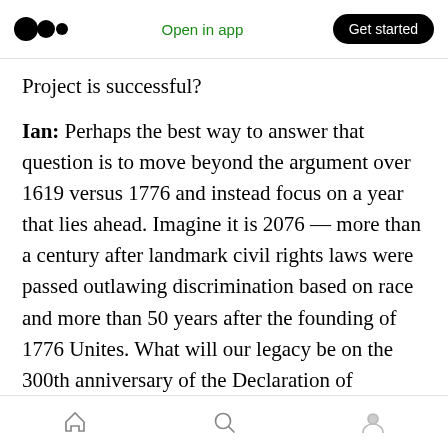Medium logo | Open in app | Get started
Project is successful?
Ian: Perhaps the best way to answer that question is to move beyond the argument over 1619 versus 1776 and instead focus on a year that lies ahead. Imagine it is 2076 — more than a century after landmark civil rights laws were passed outlawing discrimination based on race and more than 50 years after the founding of 1776 Unites. What will our legacy be on the 300th anniversary of the Declaration of Independence? 1776 Unites scholar Shelby Steele has observed that sometimes the ancestors of a
Home | Search | Profile